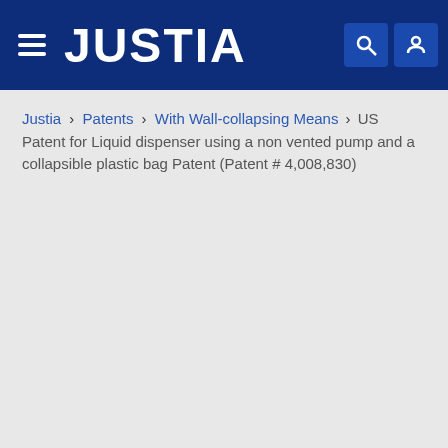JUSTIA
Justia › Patents › With Wall-collapsing Means › US Patent for Liquid dispenser using a non vented pump and a collapsible plastic bag Patent (Patent # 4,008,830)